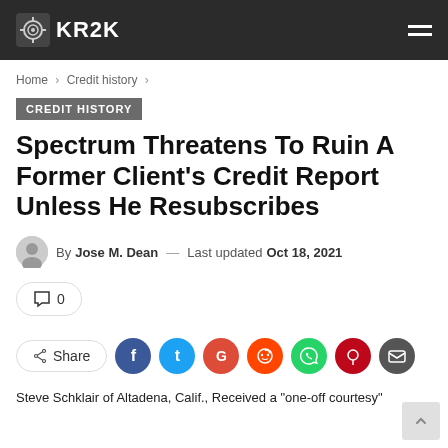KR2K
Home > Credit history >
CREDIT HISTORY
Spectrum Threatens To Ruin A Former Client's Credit Report Unless He Resubscribes
By Jose M. Dean — Last updated Oct 18, 2021
0
Share
Steve Schklair of Altadena, Calif., Received a "one-off courtesy"